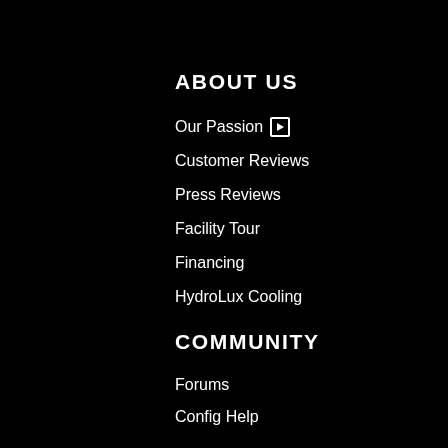ABOUT US
Our Passion ⊡
Customer Reviews
Press Reviews
Facility Tour
Financing
HydroLux Cooling
COMMUNITY
Forums
Config Help
Customer Reviews
Articles & Blog
Expert Buying Guide